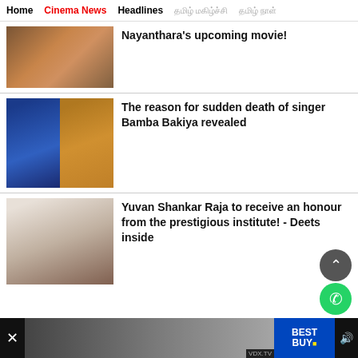Home | Cinema News | Headlines | [Tamil nav items]
Nayanthara's upcoming movie!
[Figure (photo): Photo related to Nayanthara's upcoming movie]
The reason for sudden death of singer Bamba Bakiya revealed
[Figure (photo): Two photos of singer Bamba Bakiya wearing turbans]
Yuvan Shankar Raja to receive an honour from the prestigious institute! - Deets inside
[Figure (photo): Photo of Yuvan Shankar Raja]
[Figure (photo): Advertisement banner - Best Buy VDX.TV]